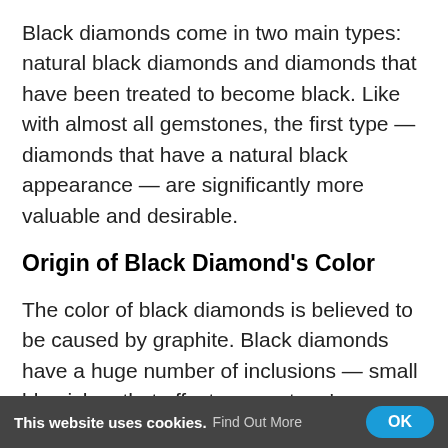Black diamonds come in two main types: natural black diamonds and diamonds that have been treated to become black. Like with almost all gemstones, the first type — diamonds that have a natural black appearance — are significantly more valuable and desirable.
Origin of Black Diamond's Color
The color of black diamonds is believed to be caused by graphite. Black diamonds have a huge number of inclusions — small blemishes that affect a gemstone's appearance. This large number of inclusions is enough to change the color of black diamonds used in jewelry.
A black diamond is essentially so full of inclusions
This website uses cookies. Find Out More  OK